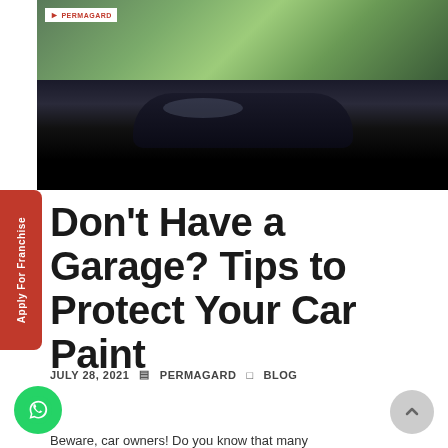[Figure (photo): A dark luxury car photographed from above/front angle with green foliage in background. Lower portion of image is blacked out. Permagard logo visible in top-left corner.]
Don’t Have a Garage? Tips to Protect Your Car Paint
JULY 28, 2021  ▤ PERMAGARD  □ BLOG
Beware, car owners! Do you know that many